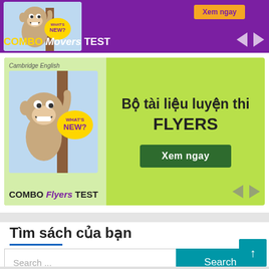[Figure (screenshot): Purple banner ad for COMBO Movers TEST - Cambridge English learning materials with monkey mascot, 'Xem ngay' button in orange/yellow]
[Figure (screenshot): Green/lime banner ad for COMBO Flyers TEST - Bộ tài liệu luyện thi FLYERS with monkey mascot, Cambridge English branding, 'Xem ngay' dark green button]
Tìm sách của bạn
[Figure (screenshot): Search bar with placeholder 'Search ...' and teal 'Search' button]